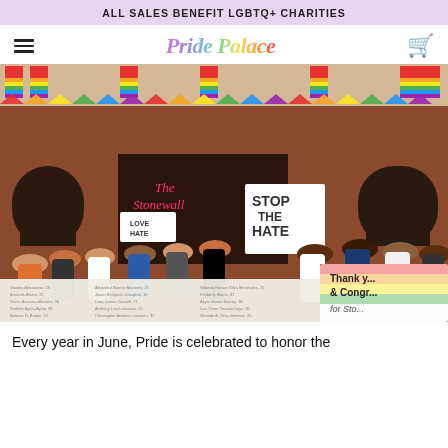ALL SALES BENEFIT LGBTQ+ CHARITIES
[Figure (logo): Pride Palace logo in rainbow gradient italic script]
[Figure (photo): Photo of The Stonewall Inn exterior with crowds, rainbow flags, and signs reading 'The Stonewall Inn', 'STOP THE HATE', 'Thank you & Congr... for Sto...' A vigil or rally with names listed on a banner in front.]
Every year in June, Pride is celebrated to honor the